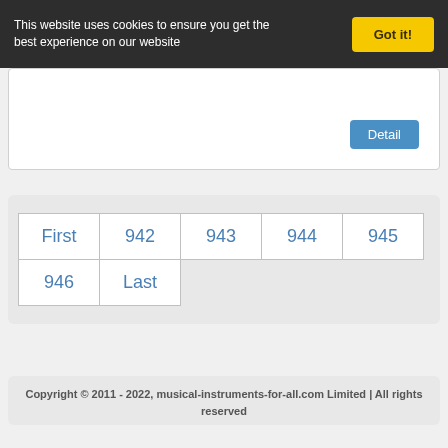This website uses cookies to ensure you get the best experience on our website
Got it!
Detail
First 942 943 944 945 946 Last
Copyright © 2011 - 2022, musical-instruments-for-all.com Limited | All rights reserved